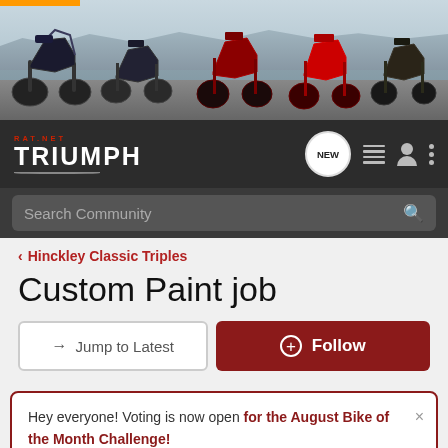[Figure (photo): Banner photo showing multiple Triumph motorcycles on a road/outdoor setting]
RAT.NET TRIUMPH — Navigation bar with NEW badge, hamburger menu, person icon, and more options
Search Community
< Hinckley Classic Triples
Custom Paint job
→ Jump to Latest
+ Follow
Hey everyone! Voting is now open for the August Bike of the Month Challenge!